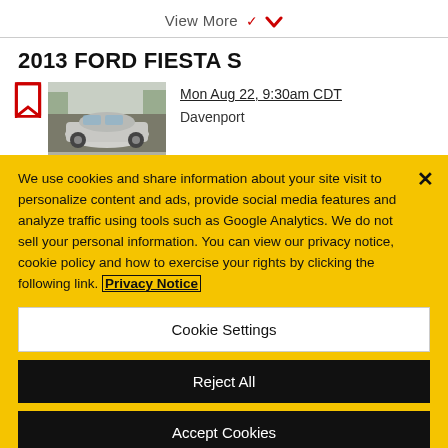View More ▾
2013 FORD FIESTA S
[Figure (photo): Photo thumbnail of a silver Ford Fiesta S car in a parking lot]
Mon Aug 22, 9:30am CDT
Davenport
We use cookies and share information about your site visit to personalize content and ads, provide social media features and analyze traffic using tools such as Google Analytics. We do not sell your personal information. You can view our privacy notice, cookie policy and how to exercise your rights by clicking the following link. Privacy Notice
Cookie Settings
Reject All
Accept Cookies